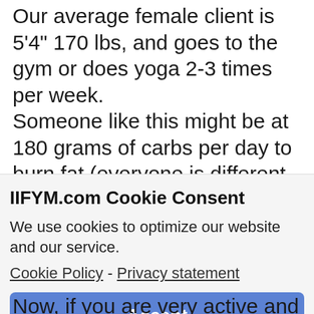Our average female client is 5'4" 170 lbs, and goes to the gym or does yoga 2-3 times per week. Someone like this might be at 180 grams of carbs per day to burn fat (everyone is different and this is just an example).
Yet, out of 180 grams of carbs, we might
IIFYM.com Cookie Consent
We use cookies to optimize our website and our service.
Cookie Policy - Privacy statement
Accept
Now, if you are very active and are